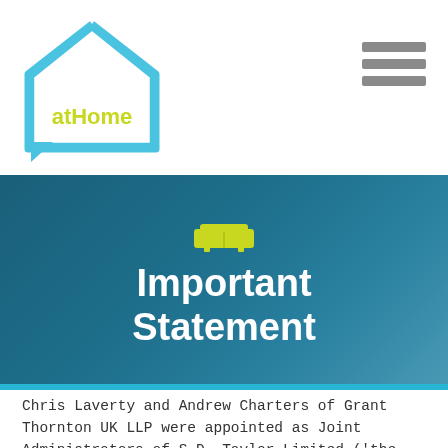[Figure (logo): Loans at Home logo — a house outline in light blue with 'Loans' in white and 'at Home' in yellow-green text inside]
[Figure (other): Hamburger menu icon — three horizontal grey bars]
[Figure (illustration): Blue gradient hero banner with a lime-green sofa/couch icon and bold white text reading 'Important Statement', with a cyan accent line at the bottom]
Chris Laverty and Andrew Charters of Grant Thornton UK LLP were appointed as Joint Administrators of S.D. Taylor Limited ('the Company') on 15 March 2022.